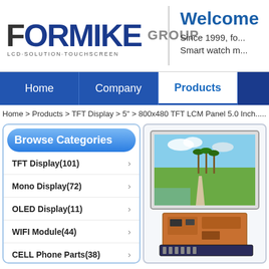[Figure (logo): Formike Group logo with orange square icon, blue FORMIKE text, grey GROUP text, and LCD·SOLUTION·TOUCHSCREEN tagline]
Welcome
Since 1999, fo...
Smart watch m...
Home | Company | Products
Home > Products > TFT Display > 5" > 800x480 TFT LCM Panel 5.0 Inch.....
Browse Categories
TFT Display(101)
Mono Display(72)
OLED Display(11)
WIFI Module(44)
CELL Phone Parts(38)
Smart Watch(?)
[Figure (photo): TFT LCD display panel showing a landscape photo of palm trees and rice fields, with circuit board/flex cable visible below]